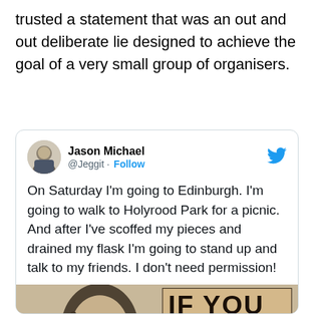trusted a statement that was an out and out deliberate lie designed to achieve the goal of a very small group of organisers.
[Figure (screenshot): Embedded tweet from @Jeggit (Jason Michael) with Follow button and Twitter bird icon. Tweet text: 'On Saturday I'm going to Edinburgh. I'm going to walk to Holyrood Park for a picnic. And after I've scoffed my pieces and drained my flask I'm going to stand up and talk to my friends. I don't need permission!' Below the tweet text is a partially visible graffiti image showing a stenciled face and the text 'IF YOU WANT TO ACHIEVE' with more text cut off.]